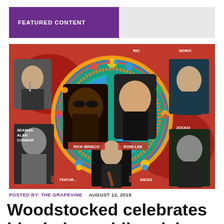FEATURED CONTENT
[Figure (photo): Colorful promotional concert poster for Woodstocked event featuring musicians including Rick Brisco, Roni Lee, Seamas Alan Connor, Jocko, and others, arranged around a large peace sign with psychedelic flower patterns.]
POSTED BY: THE GRAPEVINE   AUGUST 12, 2019
Woodstocked celebrates hippiedom while raising